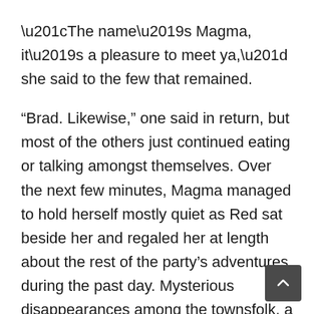“The name’s Magma, it’s a pleasure to meet ya,” she said to the few that remained.
“Brad. Likewise,” one said in return, but most of the others just continued eating or talking amongst themselves. Over the next few minutes, Magma managed to hold herself mostly quiet as Red sat beside her and regaled her at length about the rest of the party’s adventures during the past day. Mysterious disappearances among the townsfolk, a crazy Lord, the Lord’s wife who worriedly hired them, and an out of place fortune teller who seemed maybe more